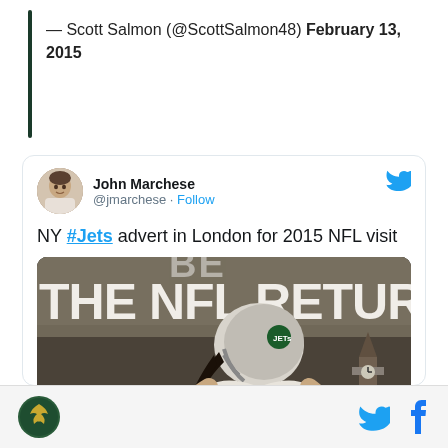— Scott Salmon (@ScottSalmon48) February 13, 2015
[Figure (screenshot): Embedded tweet from @jmarchese (John Marchese) showing text 'NY #Jets advert in London for 2015 NFL visit' with an image of a NY Jets NFL advertisement showing a player in uniform with text 'THE NFL RETURNS' and a London landmark in background]
Site logo, Twitter bird icon, Facebook f icon